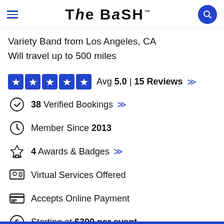The Bash
Variety Band from Los Angeles, CA
Will travel up to 500 miles
Avg 5.0 | 15 Reviews
38 Verified Bookings
Member Since 2013
4 Awards & Badges
Virtual Services Offered
Accepts Online Payment
Starting at $300 per event